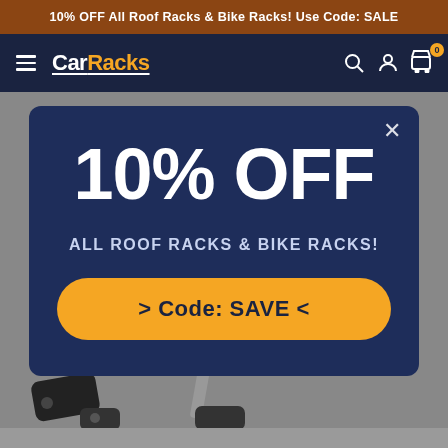10% OFF All Roof Racks & Bike Racks! Use Code: SALE
[Figure (logo): CarRacks website navigation bar with hamburger menu, CarRacks logo (Car in white, Racks in orange), search icon, user icon, and cart icon with badge showing 0]
[Figure (infographic): Promotional modal popup on dark navy background showing '10% OFF' in large white bold text, 'ALL ROOF RACKS & BIKE RACKS!' subtitle, and an orange button with '> Code: SAVE <'. Modal has a close X button in top right corner.]
[Figure (photo): Product photo background showing a partial view of a roof rack arm/crossbar attachment on a grey car roof, visible beneath the modal overlay.]